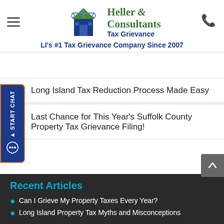[Figure (logo): Heller & Consultants Tax Grievance logo with scales of justice and house icon, green and blue colors]
LI's #1 Tax Grievance Company Since 2007
Long Island Tax Reduction Process Made Easy
Last Chance for This Year's Suffolk County Property Tax Grievance Filing!
Recent Articles
Can I Grieve My Property Taxes Every Year?
Long Island Property Tax Myths and Misconceptions